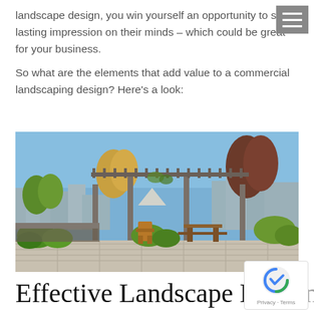landscape design, you win yourself an opportunity to set a lasting impression on their minds – which could be great for your business.
So what are the elements that add value to a commercial landscaping design? Here's a look:
[Figure (photo): Rooftop garden with pergola structures, wooden chairs, lush plantings, and city skyline in background on a sunny day.]
Effective Landscape Lighti…